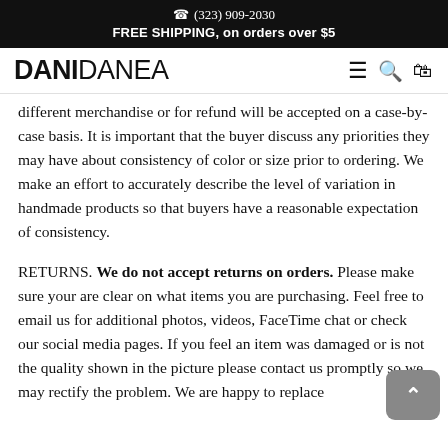☎ (323) 909-2030
FREE SHIPPING, on orders over $5
DANIDANEA
different merchandise or for refund will be accepted on a case-by-case basis. It is important that the buyer discuss any priorities they may have about consistency of color or size prior to ordering. We make an effort to accurately describe the level of variation in handmade products so that buyers have a reasonable expectation of consistency.
RETURNS. We do not accept returns on orders. Please make sure your are clear on what items you are purchasing. Feel free to email us for additional photos, videos, FaceTime chat or check our social media pages. If you feel an item was damaged or is not the quality shown in the picture please contact us promptly so we may rectify the problem. We are happy to replace